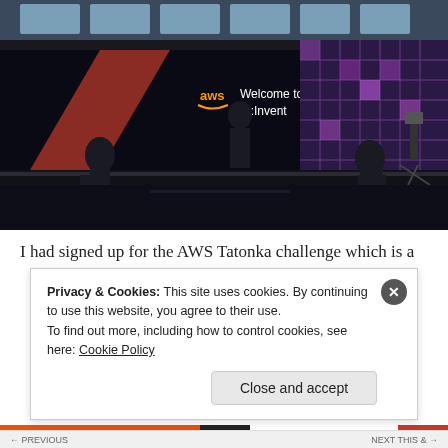[Figure (photo): Photo of AWS re:Invent event setup. Several people in black clothing are working on a large dark stage/table surface. In the background, a large screen displays the AWS logo with text 'Welcome to re:Invent'. The background shows a conference venue with a purple/pink lit grid wall on the right and large windows at the top.]
I had signed up for the AWS Tatonka challenge which is a
Privacy & Cookies: This site uses cookies. By continuing to use this website, you agree to their use.
To find out more, including how to control cookies, see here: Cookie Policy
Close and accept